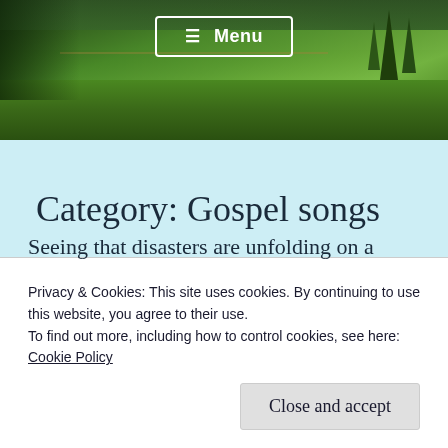[Figure (photo): Hero banner image of rolling green hills and countryside with trees, with a 'Menu' navigation button overlay]
Category: Gospel songs
Privacy & Cookies: This site uses cookies. By continuing to use this website, you agree to their use.
To find out more, including how to control cookies, see here:
Cookie Policy
Seeing that disasters are unfolding on a